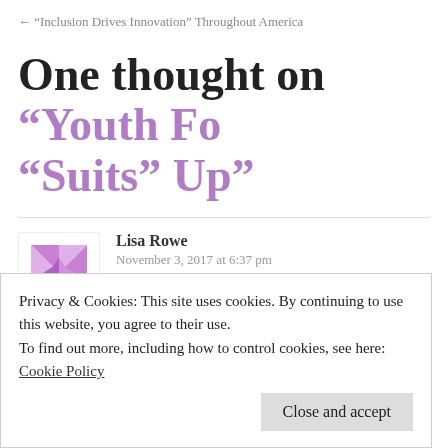← “Inclusion Drives Innovation” Throughout America
One thought on “Youth Fo “Suits” Up”
Lisa Rowe
November 3, 2017 at 6:37 pm
Very interesting work, I enjoyed the read,
Privacy & Cookies: This site uses cookies. By continuing to use this website, you agree to their use.
To find out more, including how to control cookies, see here:
Cookie Policy
Close and accept